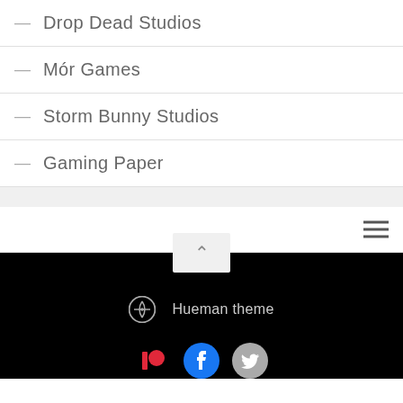— Drop Dead Studios
— Mór Games
— Storm Bunny Studios
— Gaming Paper
Hueman theme
[Figure (logo): WordPress logo, Patreon icon, Facebook icon, Twitter icon in footer]